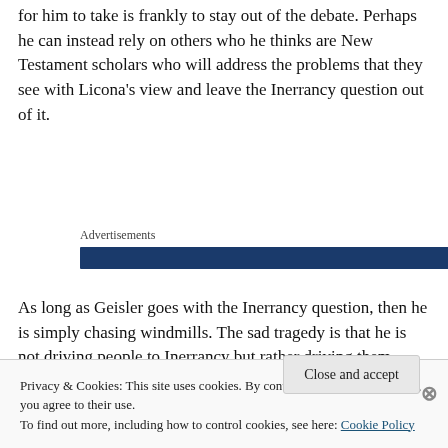for him to take is frankly to stay out of the debate. Perhaps he can instead rely on others who he thinks are New Testament scholars who will address the problems that they see with Licona's view and leave the Inerrancy question out of it.
Advertisements
[Figure (other): Dark blue horizontal advertisement banner bar]
As long as Geisler goes with the Inerrancy question, then he is simply chasing windmills. The sad tragedy is that he is not driving people to Inerrancy but rather driving them
Privacy & Cookies: This site uses cookies. By continuing to use this website, you agree to their use.
To find out more, including how to control cookies, see here: Cookie Policy